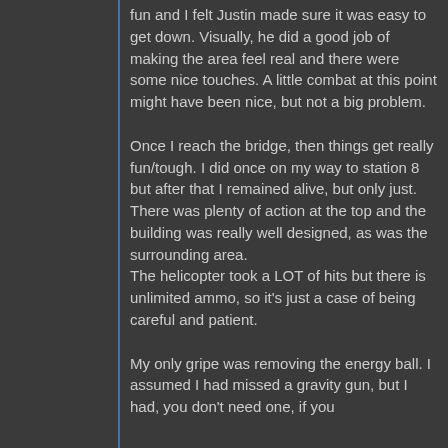fun and I felt Justin made sure it was easy to get down. Visually, he did a good job of making the area feel real and there were some nice touches. A little combat at this point might have been nice, but not a big problem.
Once I reach the bridge, then things get really fun/tough. I did once on my way to station 8 but after that I remained alive, but only just. There was plenty of action at the top and the building was really well designed, as was the surrounding area. The helicopter took a LOT of hits but there is unlimited ammo, so it's just a case of being careful and patient.
My only gripe was removing the energy ball. I assumed I had missed a gravity gun, but I had, you don't need one, if you